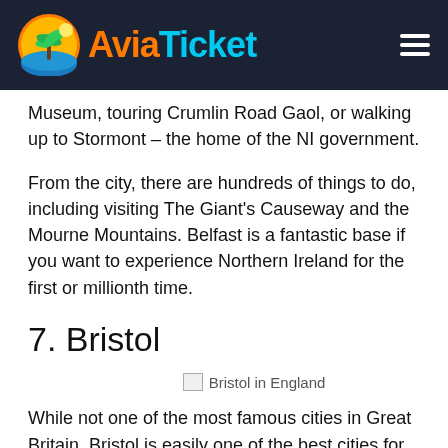AviaTicket
Museum, touring Crumlin Road Gaol, or walking up to Stormont – the home of the NI government.
From the city, there are hundreds of things to do, including visiting The Giant's Causeway and the Mourne Mountains. Belfast is a fantastic base if you want to experience Northern Ireland for the first or millionth time.
7.  Bristol
[Figure (photo): Bristol in England (broken image placeholder)]
Bristol in England
While not one of the most famous cities in Great Britain, Bristol is easily one of the best cities for